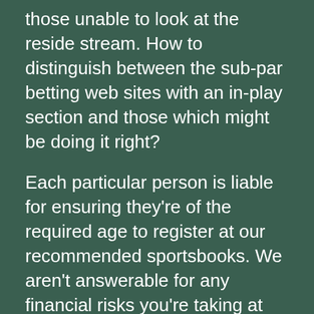those unable to look at the reside stream. How to distinguish between the sub-par betting web sites with an in-play section and those which might be doing it right?
Each particular person is liable for ensuring they're of the required age to register at our recommended sportsbooks. We aren't answerable for any financial risks you're taking at on-line sports activities betting domains. Withdrawals from on-line sportsbooks sometimes require a particular amount of time to course of and the funds that punters money out to appear online in their on-line until the